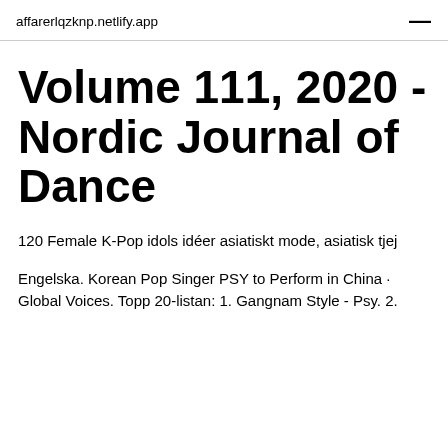affarerlqzknp.netlify.app
Volume 111, 2020 - Nordic Journal of Dance
120 Female K-Pop idols idéer asiatiskt mode, asiatisk tjej
Engelska. Korean Pop Singer PSY to Perform in China · Global Voices. Topp 20-listan: 1. Gangnam Style - Psy. 2.